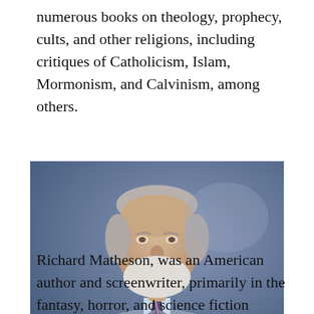numerous books on theology, prophecy, cults, and other religions, including critiques of Catholicism, Islam, Mormonism, and Calvinism, among others.
[Figure (photo): Portrait photo of an elderly man with white/grey hair and beard, wearing a grey suit jacket, light blue shirt, and striped tie. Background is blue/grey.]
Richard Matheson, was an American author and screenwriter, primarily in the fantasy, horror, and science fiction genres. Known best